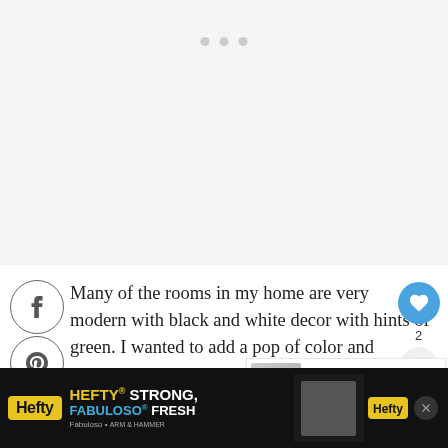[Figure (screenshot): Top image placeholder area (grey/white) with three pagination dots]
[Figure (screenshot): Social share buttons: Facebook (f), Pinterest (p), Email icons in circles on left side]
Many of the rooms in my home are very modern with black and white decor with hints of green. I wanted to add a pop of color and warmth to the guest bedroom. This blush quilt was gr[eat and I found] the perfect rug to go with it!
[Figure (screenshot): Floating right panel with blue heart button showing count 2, and share icon]
[Figure (screenshot): What's Next panel with thumbnail image and text: ENTRYWAY REFRESH...]
[Figure (screenshot): Advertisement banner: Hefty STRONG, FABULOSO FRESH with Hefty and Fabuloso logos on dark background]